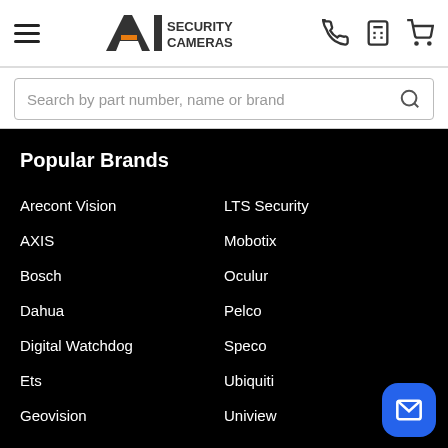[Figure (logo): A1 Security Cameras logo with hamburger menu, phone, calculator, and cart icons in the header]
Search by part number, name or brand
Popular Brands
Arecont Vision
LTS Security
AXIS
Mobotix
Bosch
Oculur
Dahua
Pelco
Digital Watchdog
Speco
Ets
Ubiquiti
Geovision
Uniview